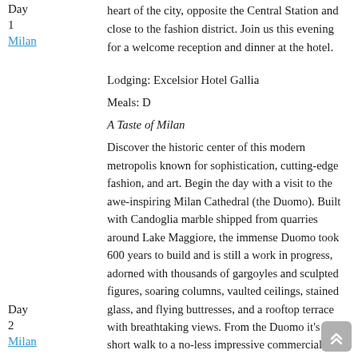heart of the city, opposite the Central Station and close to the fashion district. Join us this evening for a welcome reception and dinner at the hotel.
Lodging: Excelsior Hotel Gallia
Meals: D
A Taste of Milan
Discover the historic center of this modern metropolis known for sophistication, cutting-edge fashion, and art. Begin the day with a visit to the awe-inspiring Milan Cathedral (the Duomo). Built with Candoglia marble shipped from quarries around Lake Maggiore, the immense Duomo took 600 years to build and is still a work in progress, adorned with thousands of gargoyles and sculpted figures, soaring columns, vaulted ceilings, stained glass, and flying buttresses, and a rooftop terrace with breathtaking views. From the Duomo it's a short walk to a no-less impressive commercial cathedral, the Galleria Vittorio Emanuele II, a 19th-century shopping arcade under a monumental glass and ironwork ceiling, housing a busy warren of boutiques, restaurants, bars and cafes. Or take a walking tour of the Brera District, a romantic bohemian neighborhood of narrow cobbled streets